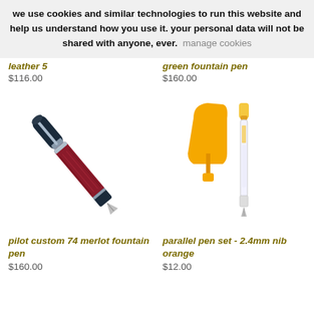we use cookies and similar technologies to run this website and help us understand how you use it. your personal data will not be shared with anyone, ever.   manage cookies
leather 5
$116.00
green fountain pen
$160.00
[Figure (photo): Pilot Custom 74 merlot fountain pen, diagonal view showing red/burgundy barrel with silver trim and dark cap]
[Figure (photo): Parallel pen set 2.4mm nib orange, showing orange nib piece and transparent pen body]
pilot custom 74 merlot fountain pen
$160.00
parallel pen set - 2.4mm nib orange
$12.00